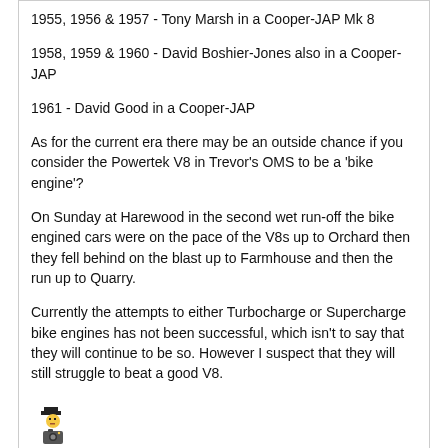1955, 1956 & 1957 - Tony Marsh in a Cooper-JAP Mk 8
1958, 1959 & 1960 - David Boshier-Jones also in a Cooper-JAP
1961 - David Good in a Cooper-JAP
As for the current era there may be an outside chance if you consider the Powertek V8 in Trevor's OMS to be a 'bike engine'?
On Sunday at Harewood in the second wet run-off the bike engined cars were on the pace of the V8s up to Orchard then they fell behind on the blast up to Farmhouse and then the run up to Quarry.
Currently the attempts to either Turbocharge or Supercharge bike engines has not been successful, which isn't to say that they will continue to be so. However I suspect that they will still struggle to beat a good V8.
[Figure (illustration): Small emoji/avatar icon showing a figure with a camera]
Reply
Cameron Winton 09:02 14 May 2007
Already happened - David Boshier Jones & Tony Marsh in the fifties using Cooper Jap's. The JAP V-Twin was used in Brough Superiors etc Can't remember the other champions that used Coopers in the fifties.
Reply